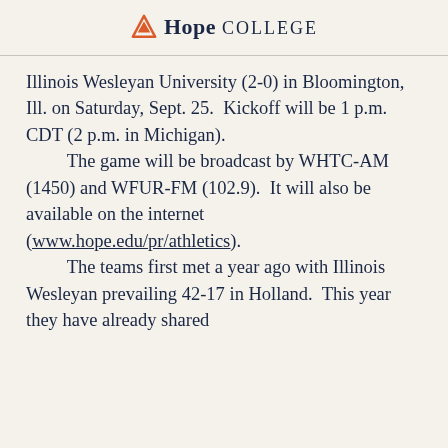Hope College
Illinois Wesleyan University (2-0) in Bloomington, Ill. on Saturday, Sept. 25.  Kickoff will be 1 p.m. CDT (2 p.m. in Michigan).
	The game will be broadcast by WHTC-AM (1450) and WFUR-FM (102.9).  It will also be available on the internet (www.hope.edu/pr/athletics).
	The teams first met a year ago with Illinois Wesleyan prevailing 42-17 in Holland.  This year they have already shared